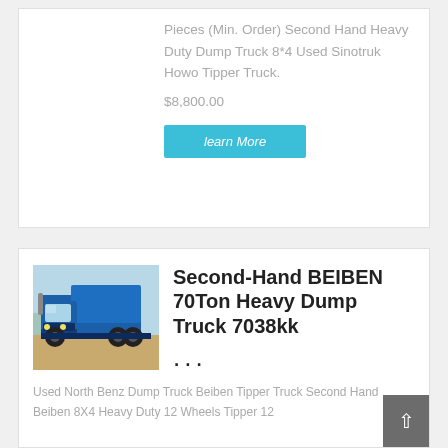Pieces (Min. Order) Second Hand Heavy Duty Dump Truck 8*4 Used Sinotruk Howo Tipper Truck.
$8,800.00
learn More
[Figure (photo): Blue BEIBEN heavy dump truck photographed outdoors on dirt ground]
Second-Hand BEIBEN 70Ton Heavy Dump Truck 7038kk
...
Used North Benz Dump Truck Beiben Tipper Truck Second Hand Beiben 8X4 Heavy Duty 12 Wheels Tipper 12